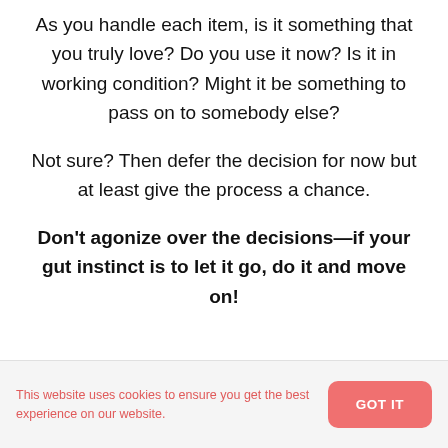As you handle each item, is it something that you truly love? Do you use it now? Is it in working condition? Might it be something to pass on to somebody else?
Not sure? Then defer the decision for now but at least give the process a chance.
Don't agonize over the decisions—if your gut instinct is to let it go, do it and move on!
This website uses cookies to ensure you get the best experience on our website.